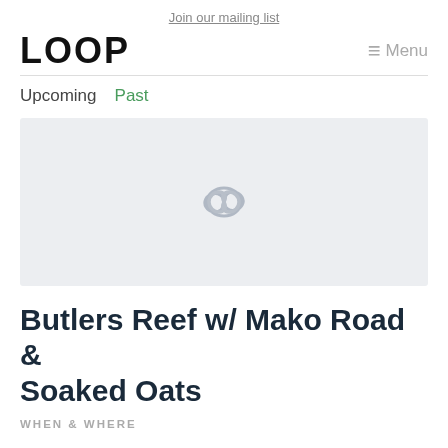Join our mailing list
LOOP
≡ Menu
Upcoming  Past
[Figure (other): Light grey placeholder image with a faint infinity/loop symbol in the center]
Butlers Reef w/ Mako Road & Soaked Oats
WHEN & WHERE